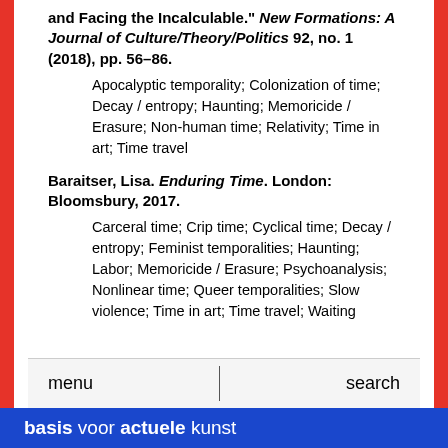and Facing the Incalculable." New Formations: A Journal of Culture/Theory/Politics 92, no. 1 (2018), pp. 56–86.
Apocalyptic temporality; Colonization of time; Decay / entropy; Haunting; Memoricide / Erasure; Non-human time; Relativity; Time in art; Time travel
Baraitser, Lisa. Enduring Time. London: Bloomsbury, 2017.
Carceral time; Crip time; Cyclical time; Decay / entropy; Feminist temporalities; Haunting; Labor; Memoricide / Erasure; Psychoanalysis; Nonlinear time; Queer temporalities; Slow violence; Time in art; Time travel; Waiting
menu | search
basis voor actuele kunst